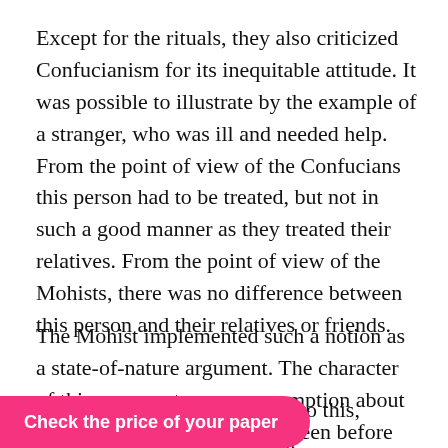Except for the rituals, they also criticized Confucianism for its inequitable attitude. It was possible to illustrate by the example of a stranger, who was ill and needed help. From the point of view of the Confucians this person had to be treated, but not in such a good manner as they treated their relatives. From the point of view of the Mohists, there was no difference between this person and their relatives or friends.
The Mohist implemented such a notion as a state-of-nature argument. The character of this argument was a presumption about the nature of life, which had been before the appearance of the institution of the government. According to Mohism, without the institution of the government, there was no such notion as a norm. People were free in the definition [of what was] bad. Due to this, [it] followed that
Check the price of your paper